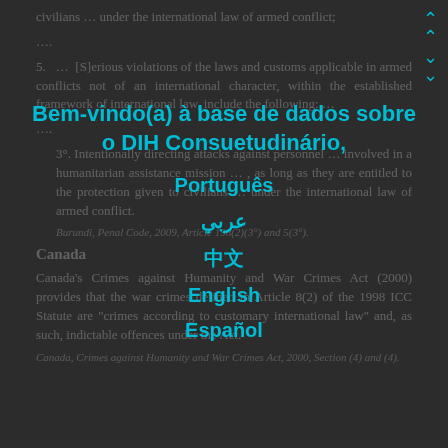civilians ... under the international law of armed conflict;
….
5. ... [S]erious violations of the laws and customs applicable in armed conflicts not of an international character, within the established framework of international law, include the following: ...
3°. Intentionally directing attacks against personnel ... involved in a humanitarian assistance mission ... , as long as they are entitled to the protection given to civilians ... under the international law of armed conflict.
Burundi, Penal Code, 2009, Article 198(2)(3°) and 5(3°).
Canada
Canada's Crimes against Humanity and War Crimes Act (2000) provides that the war crimes defined in Article 8(2) of the 1998 ICC Statute are "crimes according to customary international law" and, as such, indictable offences under the Act.
Canada, Crimes against Humanity and War Crimes Act, 2000, Section (4) and (4).
[Figure (other): Language selection overlay with title 'Bem-vindo(a) à base de dados sobre o DIH Consuetudinário,' and language options: Português, عربي, 中文, English, Español. Navigation arrows in top right.]